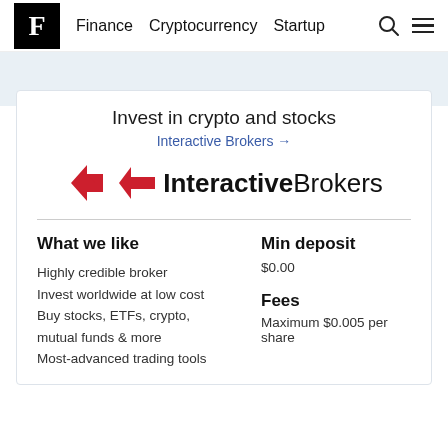F Finance Cryptocurrency Startup
[Figure (logo): Interactive Brokers logo with red chevron icon and bold InteractiveBrokers text]
Invest in crypto and stocks
Interactive Brokers →
What we like
Highly credible broker
Invest worldwide at low cost
Buy stocks, ETFs, crypto, mutual funds & more
Most-advanced trading tools
Min deposit
$0.00
Fees
Maximum $0.005 per share